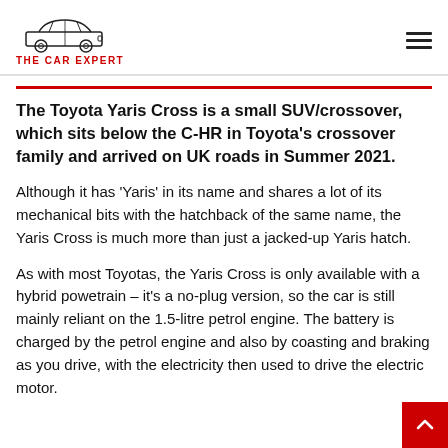THE CAR EXPERT
The Toyota Yaris Cross is a small SUV/crossover, which sits below the C-HR in Toyota's crossover family and arrived on UK roads in Summer 2021.
Although it has ‘Yaris’ in its name and shares a lot of its mechanical bits with the hatchback of the same name, the Yaris Cross is much more than just a jacked-up Yaris hatch.
As with most Toyotas, the Yaris Cross is only available with a hybrid powetrain – it’s a no-plug version, so the car is still mainly reliant on the 1.5-litre petrol engine. The battery is charged by the petrol engine and also by coasting and braking as you drive, with the electricity then used to drive the electric motor.